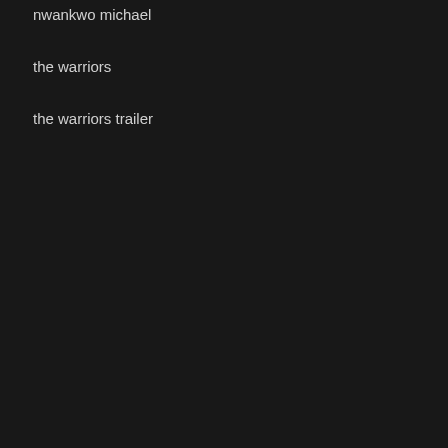nwankwo michael
the warriors
the warriors trailer